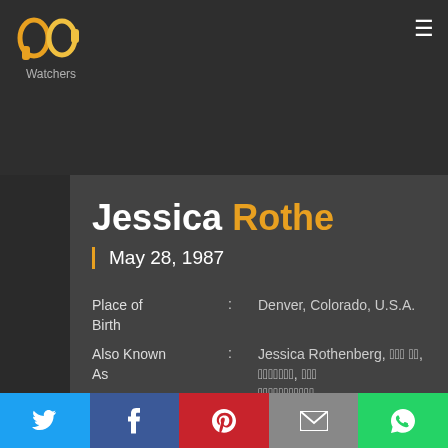[Figure (logo): QP Watchers logo - two headphone/ear shapes in orange and yellow forming letters QP, with text 'Watchers' below]
Jessica Rothe
May 28, 1987
| Place of Birth | : | Denver, Colorado, U.S.A. |
| Also Known As | : | Jessica Rothenberg, [non-Latin text] |
| Imdb Profile | : | IMDB Profile |
Jessica Rothe (born Jessica Rothenberg; May 28, 1987) an American actress. She stars in the 2017 horror film Happy Death Day, and had a
Twitter | Facebook | Pinterest | Email | WhatsApp